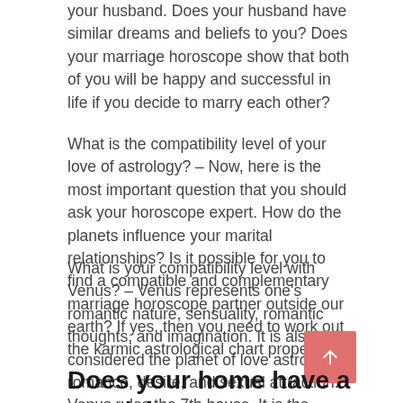your husband. Does your husband have similar dreams and beliefs to you? Does your marriage horoscope show that both of you will be happy and successful in life if you decide to marry each other?
What is the compatibility level of your love of astrology? – Now, here is the most important question that you should ask your horoscope expert. How do the planets influence your marital relationships? Is it possible for you to find a compatible and complementary marriage horoscope partner outside our earth? If yes, then you need to work out the karmic astrological chart properly.
What is your compatibility level with Venus? – Venus represents one's romantic nature, sensuality, romantic thoughts, and imagination. It is also considered the planet of love astrology, romance, desire, and sexual attraction. Venus rules the 7th house. It is the planet of one's romantic past and plays an important role in deciding one's future romantic life path.
Does your home have a special